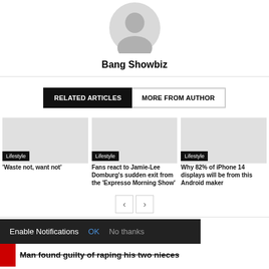[Figure (photo): Circular avatar placeholder with gray background and white silhouette person icon]
Bang Showbiz
RELATED ARTICLES | MORE FROM AUTHOR
[Figure (photo): Article image placeholder gray box with Lifestyle tag, title: 'Waste not, want not']
[Figure (photo): Article image placeholder gray box with Lifestyle tag, title: 'Fans react to Jamie-Lee Domburg's sudden exit from the 'Expresso Morning Show'']
[Figure (photo): Article image placeholder gray box with Lifestyle tag, title: 'Why 82% of iPhone 14 displays will be from this Android maker']
Enable Notifications  OK  No thanks
Man found guilty of raping his two nieces